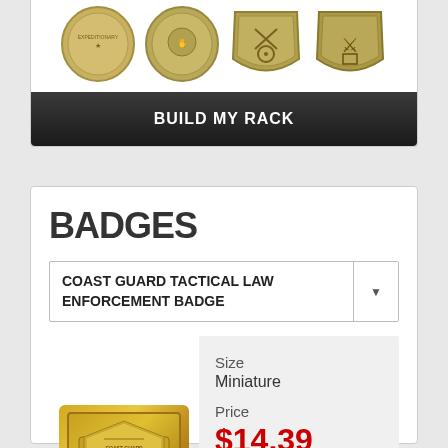[Figure (photo): Four military/service medals and badges shown in a row: an oval medal with figure, an oval medal with hands, a shield-shaped badge with crossed rifles and target, and a shield-shaped badge with crossed pistols]
BUILD MY RACK
BADGES
COAST GUARD TACTICAL LAW ENFORCEMENT BADGE
[Figure (photo): Gold Coast Guard Tactical Law Enforcement badge, miniature size]
Size
Miniature
Price
$14.39